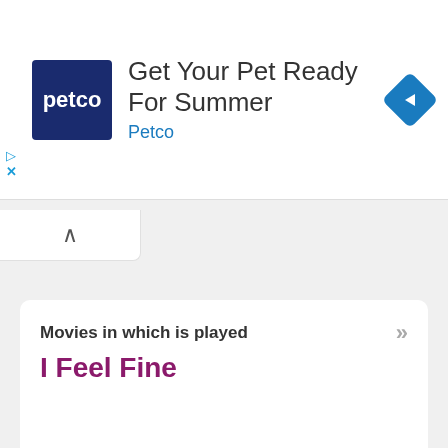[Figure (screenshot): Petco advertisement banner with logo, text 'Get Your Pet Ready For Summer', brand name 'Petco', and a blue diamond navigation icon]
Movies in which is played
I Feel Fine